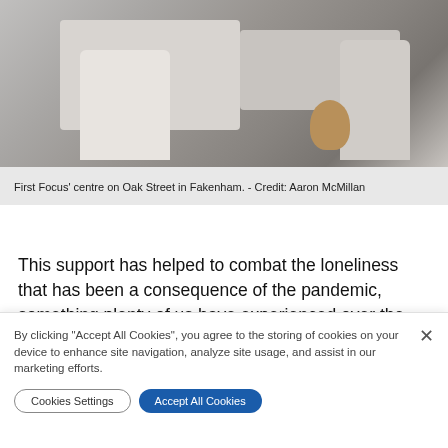[Figure (photo): People sitting at tables in First Focus' centre on Oak Street in Fakenham. A teddy bear is visible on the floor. Taken from behind the subjects.]
First Focus' centre on Oak Street in Fakenham. - Credit: Aaron McMillan
This support has helped to combat the loneliness that has been a consequence of the pandemic, something plenty of us have experienced over the past 17 months.
The impact of the coronavirus has already been seen with a rise in people seeking crisis help.
By clicking "Accept All Cookies", you agree to the storing of cookies on your device to enhance site navigation, analyze site usage, and assist in our marketing efforts.